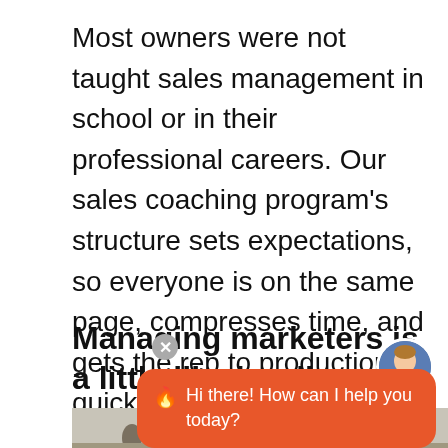Most owners were not taught sales management in school or in their professional careers. Our sales coaching program's structure sets expectations, so everyone is on the same page, compresses time, and gets the rep to production quicker.
Managing marketers is a little like herding cats. And we LOVE herding cats!
[Figure (photo): Bottom portion of a photo showing silhouetted figures, partially visible]
[Figure (screenshot): Chat widget overlay with orange background showing flame emoji and text 'Hi there! How can I help you today?' with a circular avatar of a woman in the top right corner and an X close button]